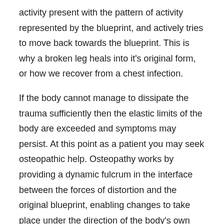activity present with the pattern of activity represented by the blueprint, and actively tries to move back towards the blueprint. This is why a broken leg heals into it's original form, or how we recover from a chest infection.
If the body cannot manage to dissipate the trauma sufficiently then the elastic limits of the body are exceeded and symptoms may persist. At this point as a patient you may seek osteopathic help. Osteopathy works by providing a dynamic fulcrum in the interface between the forces of distortion and the original blueprint, enabling changes to take place under the direction of the body's own inner healing tendency rather than using force from without.
In Cranial Osteopathy the force to create this change